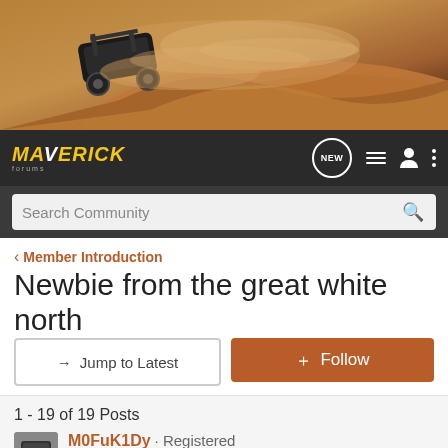[Figure (photo): Hero banner showing an off-road vehicle (UTV/buggy) driving through sand dunes with dust cloud, warm orange/brown tones]
MAVERICK forums | NEW | nav icons | Search Community
< Member Introduction
Newbie from the great white north
→ Jump to Latest | + Follow
1 - 19 of 19 Posts
M0FuK1Dy · Registered
Joined Dec 11, 2013 · 350 Posts